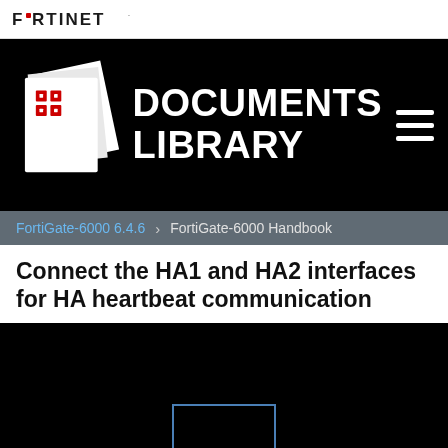FORTINET.
[Figure (logo): Fortinet Documents Library hero banner with stacked pages icon and DOCUMENTS LIBRARY title and hamburger menu]
FortiGate-6000 6.4.6 > FortiGate-6000 Handbook
Connect the HA1 and HA2 interfaces for HA heartbeat communication
[Figure (screenshot): Dark content area with a light blue outlined rectangle placeholder in the lower center]